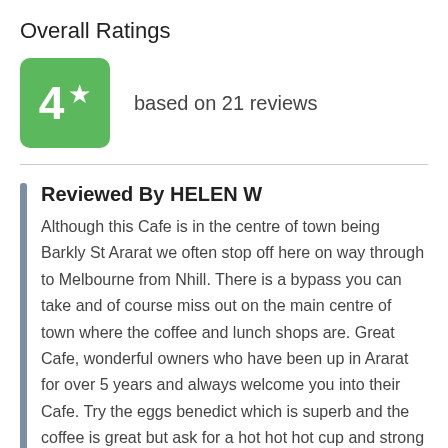Overall Ratings
[Figure (infographic): Green rounded square badge showing the number 4 with a white star icon, indicating a rating of 4 out of 5]
based on 21 reviews
Reviewed By HELEN W
Although this Cafe is in the centre of town being Barkly St Ararat we often stop off here on way through to Melbourne from Nhill. There is a bypass you can take and of course miss out on the main centre of town where the coffee and lunch shops are. Great Cafe, wonderful owners who have been up in Ararat for over 5 years and always welcome you into their Cafe. Try the eggs benedict which is superb and the coffee is great but ask for a hot hot hot cup and strong or you may get a cup of milk. We